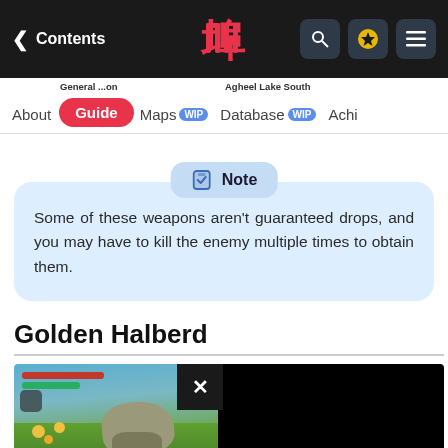< Contents | [logo] | [search] [star] [menu]
About | Guide | Maps WIP | Database WIP | Achi...
Note
Some of these weapons aren't guaranteed drops, and you may have to kill the enemy multiple times to obtain them.
Golden Halberd
[Figure (screenshot): In-game screenshot showing a field environment with grass, blue sky, enemy creature, and player character. A black overlay panel with an X close button covers the right portion.]